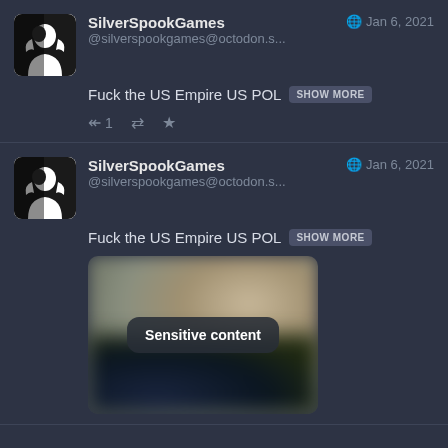[Figure (screenshot): First post by SilverSpookGames on Jan 6, 2021 with text 'Fuck the US Empire US POL' and a SHOW MORE button, with reply/retweet/star action icons]
[Figure (screenshot): Second post by SilverSpookGames on Jan 6, 2021 with text 'Fuck the US Empire US POL' and a SHOW MORE button, and a blurred sensitive content image below]